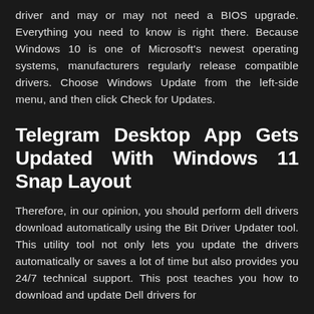driver and may or may not need a BIOS upgrade. Everything you need to know is right there. Because Windows 10 is one of Microsoft's newest operating systems, manufacturers regularly release compatible drivers. Choose Windows Update from the left-side menu, and then click Check for Updates.
Telegram Desktop App Gets Updated With Windows 11 Snap Layout
Therefore, in our opinion, you should perform dell drivers download automatically using the Bit Driver Updater tool. This utility tool not only lets you update the drivers automatically or saves a lot of time but also provides you 24/7 technical support. This post teaches you how to download and update Dell drivers for